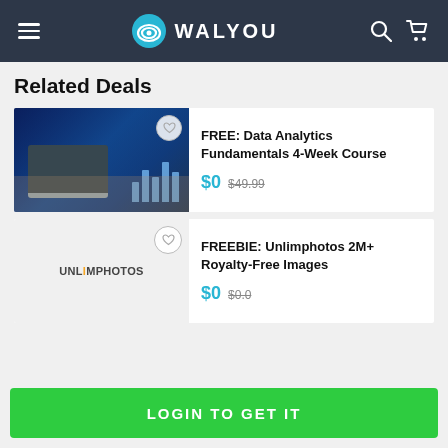WALYOU
Related Deals
[Figure (photo): Data analytics image showing a laptop and charts with blue tones]
FREE: Data Analytics Fundamentals 4-Week Course
$0 $49.99
[Figure (logo): Unlimphotos logo with orange and cyan lettering]
FREEBIE: Unlimphotos 2M+ Royalty-Free Images
$0 $0.0
LOGIN TO GET IT